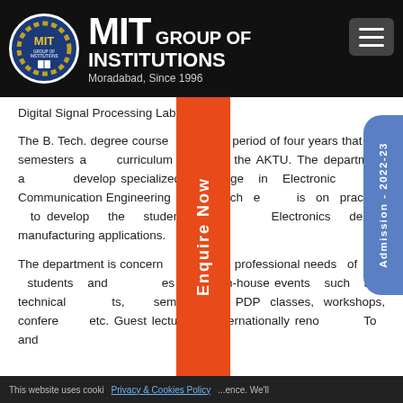MIT GROUP OF INSTITUTIONS, Moradabad, Since 1996
Digital Signal Processing Lab
The B. Tech. degree course over a period of four years that is 8 semesters and curriculum is as per the AKTU. The department aims to develop specialized knowledge in Electronics and Communication Engineering with much emphasis on practical to develop the student's skills in Electronics design manufacturing applications.
The department is concerned about the professional needs of the students and organises various in-house events such as technical events, seminars, PDP classes, workshops, conferences etc. Guest lectures of internationally renowned To and
Privacy & Cookies Policy | This website uses cookies ... experience. We'll